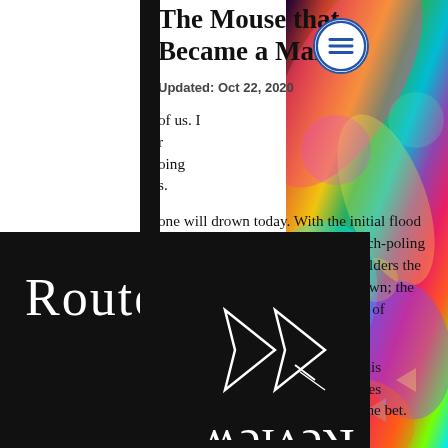The Mouse that Became a Man
Updated: Oct 22, 2020
[Figure (logo): Route Review logo — white geometric arrow/star shape on black background with 'Route' in white and 'Review' mirrored/reversed in white text]
[Figure (photo): Colorful abstract swirling liquid art in rainbow colors on the right side of the page]
of us. I r oing s. one will drown today. With the initial flood comes entire cottonwood trees, pitch-poling down the narrow corridor, and boulders the size of French cars. No time to drown; the river will simply crush us in an act of mercy.
We gambled when we started up this canyon—hours ago. Clear blue skies showed us the odds, and we took the bet. We've almost made it to a series